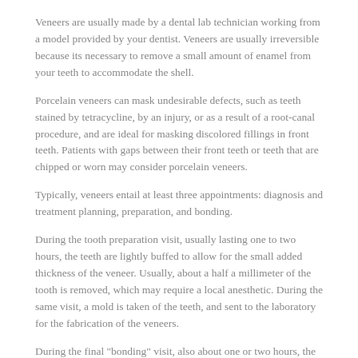Veneers are usually made by a dental lab technician working from a model provided by your dentist. Veneers are usually irreversible because its necessary to remove a small amount of enamel from your teeth to accommodate the shell.
Porcelain veneers can mask undesirable defects, such as teeth stained by tetracycline, by an injury, or as a result of a root-canal procedure, and are ideal for masking discolored fillings in front teeth. Patients with gaps between their front teeth or teeth that are chipped or worn may consider porcelain veneers.
Typically, veneers entail at least three appointments: diagnosis and treatment planning, preparation, and bonding.
During the tooth preparation visit, usually lasting one to two hours, the teeth are lightly buffed to allow for the small added thickness of the veneer. Usually, about a half a millimeter of the tooth is removed, which may require a local anesthetic. During the same visit, a mold is taken of the teeth, and sent to the laboratory for the fabrication of the veneers.
During the final "bonding" visit, also about one or two hours, the